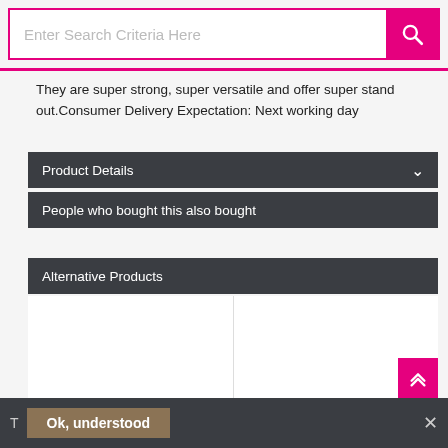Enter Search Criteria Here
They are super strong, super versatile and offer super stand out.Consumer Delivery Expectation: Next working day
Product Details
People who bought this also bought
Alternative Products
[Figure (other): Two-column empty alternative products area]
T
Ok, understood
✕